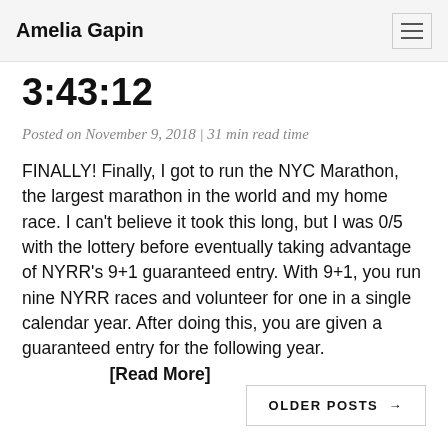Amelia Gapin
3:43:12
Posted on November 9, 2018 | 31 min read time
FINALLY! Finally, I got to run the NYC Marathon, the largest marathon in the world and my home race. I can't believe it took this long, but I was 0/5 with the lottery before eventually taking advantage of NYRR's 9+1 guaranteed entry. With 9+1, you run nine NYRR races and volunteer for one in a single calendar year. After doing this, you are given a guaranteed entry for the following year. [Read More]
OLDER POSTS →